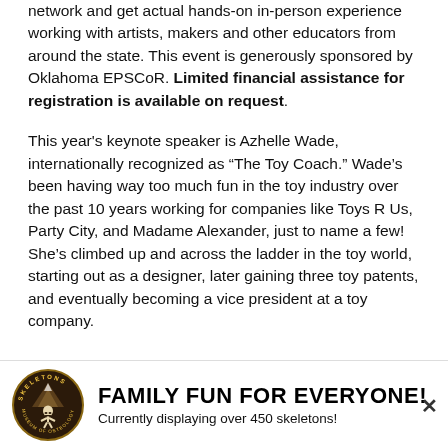network and get actual hands-on in-person experience working with artists, makers and other educators from around the state. This event is generously sponsored by Oklahoma EPSCoR. Limited financial assistance for registration is available on request.
This year's keynote speaker is Azhelle Wade, internationally recognized as “The Toy Coach.” Wade’s been having way too much fun in the toy industry over the past 10 years working for companies like Toys R Us, Party City, and Madame Alexander, just to name a few! She’s climbed up and across the ladder in the toy world, starting out as a designer, later gaining three toy patents, and eventually becoming a vice president at a toy company.
[Figure (logo): Skeletons Museum of Osteology circular logo with skeleton figure and mountain imagery]
FAMILY FUN FOR EVERYONE! Currently displaying over 450 skeletons!